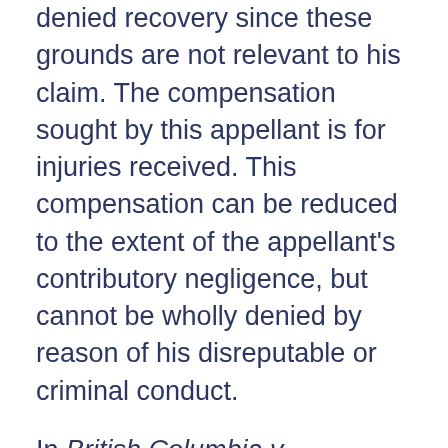denied recovery since these grounds are not relevant to his claim. The compensation sought by this appellant is for injuries received. This compensation can be reduced to the extent of the appellant's contributory negligence, but cannot be wholly denied by reason of his disreputable or criminal conduct.
In British Columbia v. Zastowny, 2008 SCC 4 (CanLII), [2008] 1 SCR 27, the Supreme Court of Canada had occasion to revisit Hall v Hebert and the role of ex turpi causa. In that case, Mr. Zastowny had been sexually assaulted by a prison guard while in jail. In addition to an award for general and aggravated damages, at trial, he was awarded compensation for past and future lost wages. Justice Rothstein